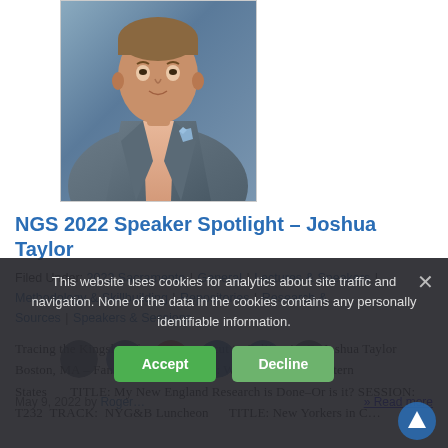[Figure (photo): Portrait photo of Joshua Taylor in a grey suit with pink shirt and blue pocket square]
NGS 2022 Speaker Spotlight – Joshua Taylor
Filed Under: 2022 Sacramento | General | Lectures & Speakers | Methodology & Skillbuilding | Repositories | Research & Sources | Speakers & Sessions
Tracing the Kingsleys from Connecticut to California–D. Joshua Taylor Boston, MA – Faneuil Hall SESSION: W142  TRACK: Eastern States       TITLE: My New England Research is Done–Or is it? SESSION: T232  TRACK:  NYG&B Luncheon      TITLE: New Yorkers in C…
May 9, 2022 by Roger… » Read more
This website uses cookies for analytics about site traffic and navigation. None of the data in the cookies contains any personally identifiable information.